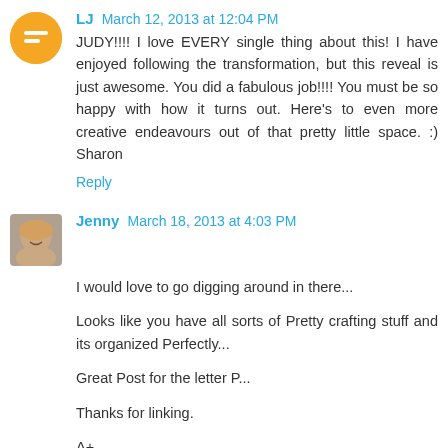LJ March 12, 2013 at 12:04 PM
JUDY!!!! I love EVERY single thing about this! I have enjoyed following the transformation, but this reveal is just awesome. You did a fabulous job!!!! You must be so happy with how it turns out. Here's to even more creative endeavours out of that pretty little space. :) Sharon
Reply
Jenny March 18, 2013 at 4:03 PM
I would love to go digging around in there...
Looks like you have all sorts of Pretty crafting stuff and its organized Perfectly...
Great Post for the letter P...
Thanks for linking.
A+